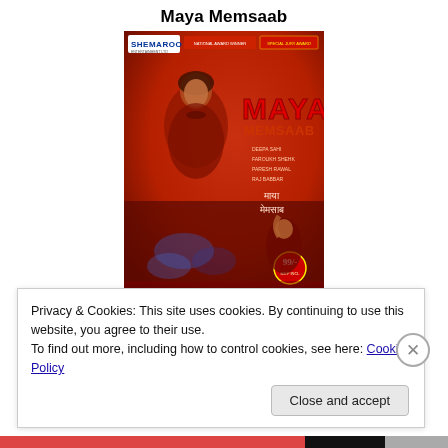Maya Memsaab
[Figure (photo): Movie DVD cover for 'Maya Memsaab'. Orange-red background with a woman in the foreground, bold red text 'MAYA MEMSAAB', Shemaroo logo in top-left, cast names listed, Hindi script text, price badge '99/-', and a second female figure in the lower right.]
Privacy & Cookies: This site uses cookies. By continuing to use this website, you agree to their use.
To find out more, including how to control cookies, see here: Cookie Policy